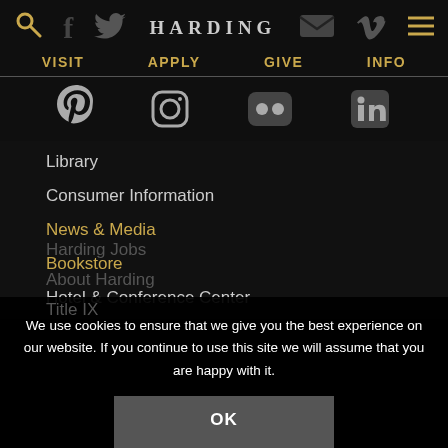HARDING — navigation bar with social icons: search, facebook, twitter, HARDING, email, vimeo, menu
VISIT
APPLY
GIVE
INFO
[Figure (other): Row of social media icons: Pinterest, Instagram, Flickr, LinkedIn — dark style on black background]
Library
Consumer Information
News & Media
Bookstore
Hotel & Conference Center
Harding Jobs
About Harding
Title IX
We use cookies to ensure that we give you the best experience on our website. If you continue to use this site we will assume that you are happy with it.
OK